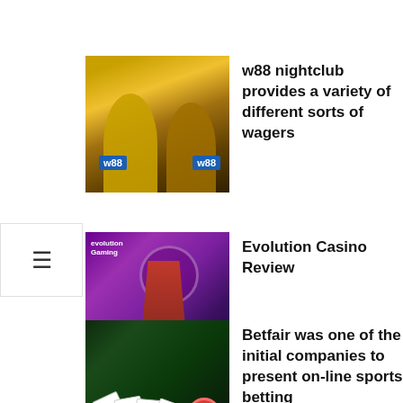[Figure (photo): Two soccer players in yellow w88 jerseys, one pointing upward]
w88 nightclub provides a variety of different sorts of wagers
[Figure (photo): Evolution Gaming banner with casino dealer woman in red dress seated]
Evolution Casino Review
[Figure (photo): Playing cards fanned out on dark green background with casino chips]
Betfair was one of the initial companies to present on-line sports betting
[Figure (photo): Dark interior of a gambling establishment with glowing lights]
gambling establishment is having promotion only during the times